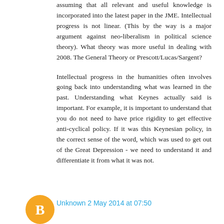assuming that all relevant and useful knowledge is incorporated into the latest paper in the JME. Intellectual progress is not linear. (This by the way is a major argument against neo-liberalism in political science theory). What theory was more useful in dealing with 2008. The General Theory or Prescott/Lucas/Sargent?
Intellectual progress in the humanities often involves going back into understanding what was learned in the past. Understanding what Keynes actually said is important. For example, it is important to understand that you do not need to have price rigidity to get effective anti-cyclical policy. If it was this Keynesian policy, in the correct sense of the word, which was used to get out of the Great Depression - we need to understand it and differentiate it from what it was not.
Unknown 2 May 2014 at 07:50